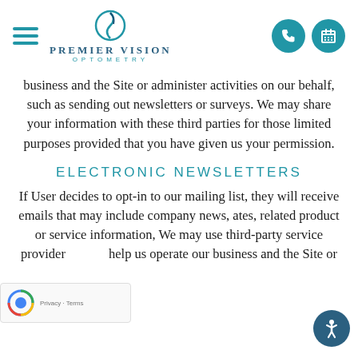Premier Vision Optometry - navigation header with logo, hamburger menu, phone and calendar icons
business and the Site or administer activities on our behalf, such as sending out newsletters or surveys. We may share your information with these third parties for those limited purposes provided that you have given us your permission.
ELECTRONIC NEWSLETTERS
If User decides to opt-in to our mailing list, they will receive emails that may include company news, ates, related product or service information, We may use third-party service provider help us operate our business and the Site or